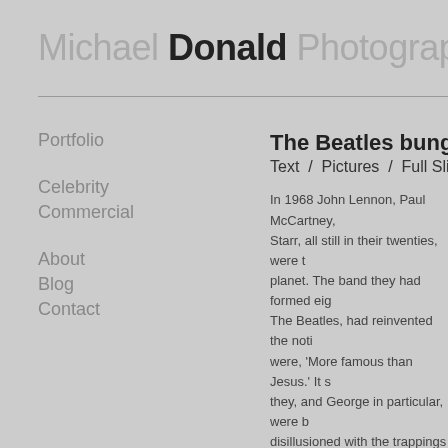Michael Donald Photography
The Beatles bungalow
Text  /  Pictures  /  Full Slideshow
Portfolio
Celebrity
Commercial
About
Blog
Contact
In 1968 John Lennon, Paul McCartney, George Harrison and Ringo Starr, all still in their twenties, were the most famous people on the planet. The band they had formed eight years earlier in Liverpool, The Beatles, had reinvented the notion of what a pop group could be and were, 'More famous than Jesus.' It seems strange then to recall that they, and George in particular, were beginning to become severely disillusioned with the trappings of fame and success and watching their lives become less about the music that had brought them together as a band in the first place and become ever more about the shallow and vacuous celebrity.
In 2019 my daughter, Sorcha Fay, age trappings of modern life in London a wispy thin air of the Himalayas. For h